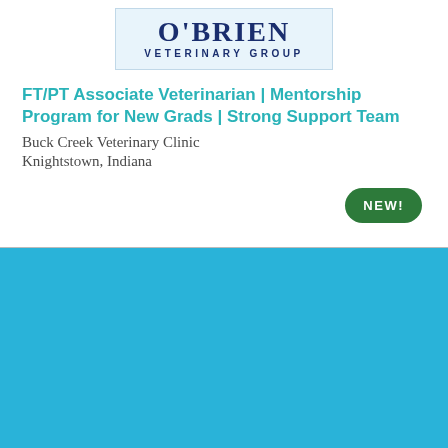[Figure (logo): O'Brien Veterinary Group logo with blue text on light blue background]
FT/PT Associate Veterinarian | Mentorship Program for New Grads | Strong Support Team
Buck Creek Veterinary Clinic
Knightstown, Indiana
NEW!
Cookie Settings
Got it
We use cookies so that we can remember you and understand how you use our site. If you do not agree with our use of cookies, please change the current settings found in our Cookie Policy. Otherwise, you agree to the use of the cookies as they are currently set.